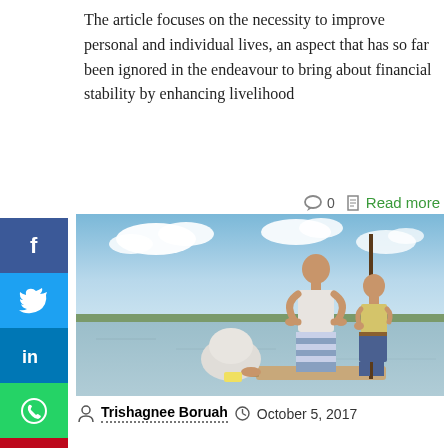The article focuses on the necessity to improve personal and individual lives, an aspect that has so far been ignored in the endeavour to bring about financial stability by enhancing livelihood
0  Read more
[Figure (photo): Photo of people on a boat on a river: an adult in a striped lungi and a child holding a pole standing, another person sitting in the foreground, flat landscape with water and sky in the background.]
Trishagnee Boruah  October 5, 2017